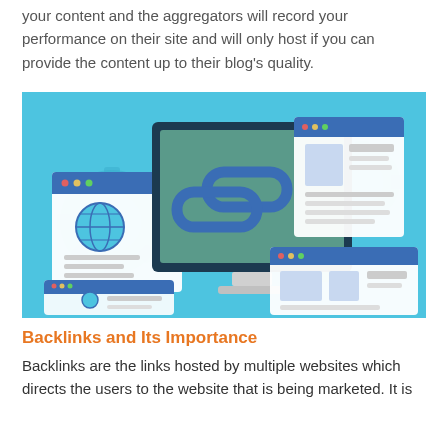your content and the aggregators will record your performance on their site and will only host if you can provide the content up to their blog's quality.
[Figure (illustration): Isometric illustration on a light blue background showing a computer monitor displaying a chain link icon (backlinks), flanked by two browser windows with web content, gears in the background representing web technology.]
Backlinks and Its Importance
Backlinks are the links hosted by multiple websites which directs the users to the website that is being marketed. It is